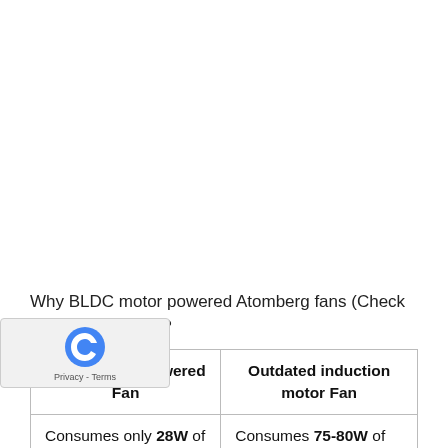Why BLDC motor powered Atomberg fans (Check price on Amazon)?
| BLDC motor-powered Fan | Outdated induction motor Fan |
| --- | --- |
| Consumes only 28W of energy | Consumes 75-80W of energy |